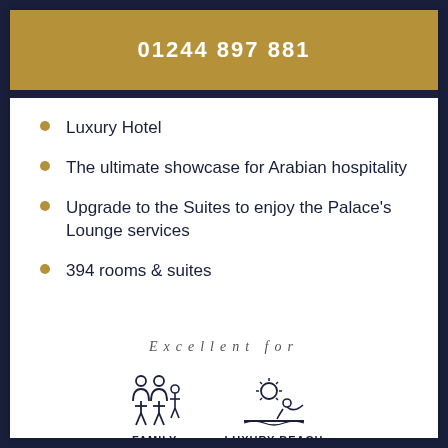01244 897 881
Luxury Hotel
The ultimate showcase for Arabian hospitality
Upgrade to the Suites to enjoy the Palace's Lounge services
394 rooms & suites
Excellent for
[Figure (infographic): Two icons: a family icon (parents and children silhouette) labeled FAMILY, and a luxury beach icon (sun and person relaxing) labeled LUXURY BEACH]